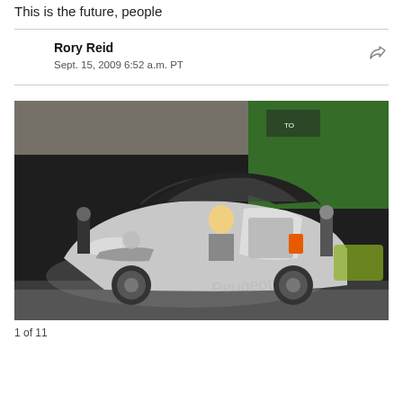This is the future, people
Rory Reid
Sept. 15, 2009 6:52 a.m. PT
[Figure (photo): A silver Peugeot concept car with gull-wing doors open at an auto show. A blonde woman is sitting inside the vehicle. The car has a futuristic design with large transparent panels. Other cars and people are visible in the background of the auto show floor.]
1 of 11